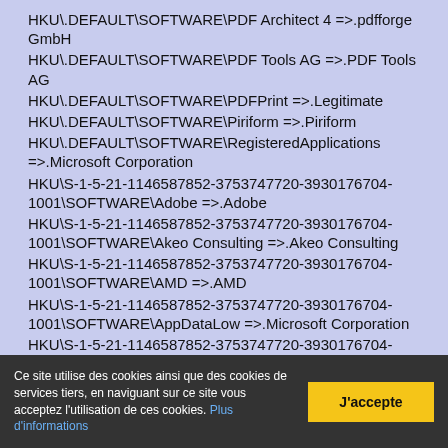HKU\.DEFAULT\SOFTWARE\PDF Architect 4 =>.pdfforge GmbH
HKU\.DEFAULT\SOFTWARE\PDF Tools AG =>.PDF Tools AG
HKU\.DEFAULT\SOFTWARE\PDFPrint =>.Legitimate
HKU\.DEFAULT\SOFTWARE\Piriform =>.Piriform
HKU\.DEFAULT\SOFTWARE\RegisteredApplications =>.Microsoft Corporation
HKU\S-1-5-21-1146587852-3753747720-3930176704-1001\SOFTWARE\Adobe =>.Adobe
HKU\S-1-5-21-1146587852-3753747720-3930176704-1001\SOFTWARE\Akeo Consulting =>.Akeo Consulting
HKU\S-1-5-21-1146587852-3753747720-3930176704-1001\SOFTWARE\AMD =>.AMD
HKU\S-1-5-21-1146587852-3753747720-3930176704-1001\SOFTWARE\AppDataLow =>.Microsoft Corporation
HKU\S-1-5-21-1146587852-3753747720-3930176704-1001\SOFTWARE\ATI =>.ATI
HKU\S-1-5-21-1146587852-3753747720-3930176704-1001\SOFTWARE\Avanquest =>.Avanquest
Ce site utilise des cookies ainsi que des cookies de services tiers, en naviguant sur ce site vous acceptez l'utilisation de ces cookies. Plus d'informations